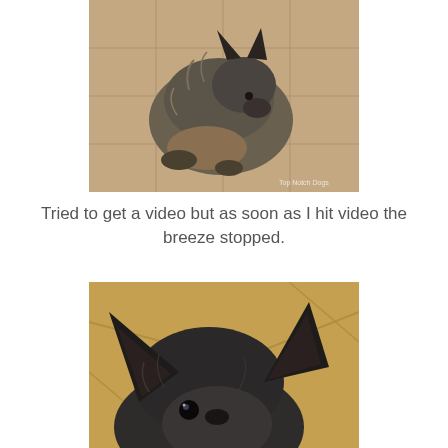[Figure (photo): A small dark gray and brown dog (possibly a Chihuahua or mixed breed) sitting curled on a tile floor, viewed from above. Ears perked up. Photo has a watermark in bottom right corner reading 'Top Notch Dogs'.]
Tried to get a video but as soon as I hit video the breeze stopped.
[Figure (photo): Close-up photo of a small black dog with large perky ears lying on a tan/yellow blanket or mat, looking up at the camera with dark eyes.]